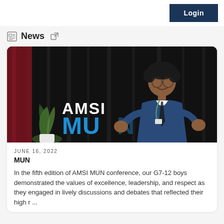Login
News
[Figure (photo): A young man in a blue vest and tie standing in front of an AMSI MUN sign with large blue letters, at a conference venue with dark curtains and a decorative plant in the background.]
JUNE 16, 2022
MUN
In the fifth edition of AMSI MUN conference, our G7-12 boys demonstrated the values of excellence, leadership, and respect as they engaged in lively discussions and debates that reflected their high r ...